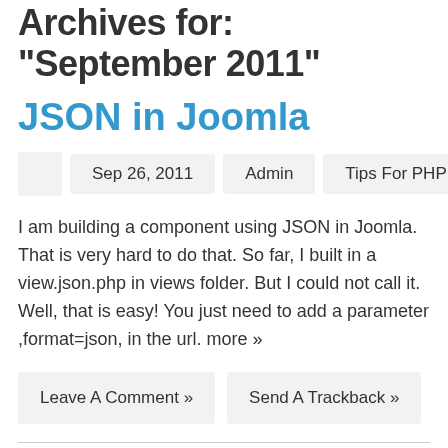Archives for: "September 2011"
JSON in Joomla
Sep 26, 2011   Admin   Tips For PHP
I am building a component using JSON in Joomla. That is very hard to do that. So far, I built in a view.json.php in views folder. But I could not call it. Well, that is easy! You just need to add a parameter ,format=json, in the url. more »
Leave A Comment »   Send A Trackback »